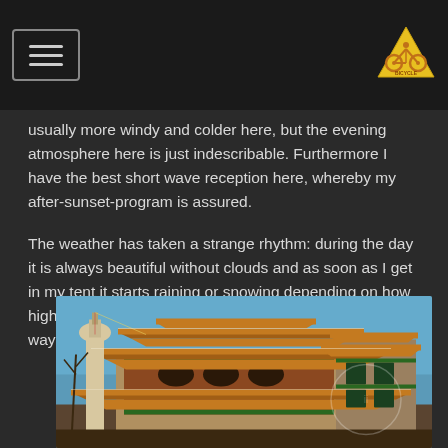Navigation menu and logo
usually more windy and colder here, but the evening atmosphere here is just indescribable. Furthermore I have the best short wave reception here, whereby my after-sunset-program is assured.
The weather has taken a strange rhythm: during the day it is always beautiful without clouds and as soon as I get in my tent it starts raining or snowing depending on how high I am. I don't really mind, as long as it's not the other way round.
[Figure (photo): Tibetan/Chinese Buddhist monastery or temple building with traditional multi-tiered orange tiled roofs, ornate decorations, colorful facades with red, green and gold details, stone walls, set against a clear blue sky with bare trees visible in the background.]